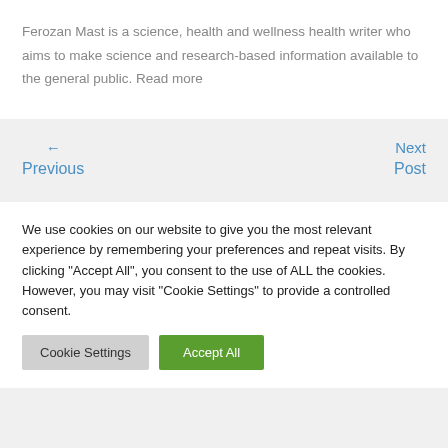Ferozan Mast is a science, health and wellness health writer who aims to make science and research-based information available to the general public. Read more
← Previous
Next Post →
We use cookies on our website to give you the most relevant experience by remembering your preferences and repeat visits. By clicking "Accept All", you consent to the use of ALL the cookies. However, you may visit "Cookie Settings" to provide a controlled consent.
Cookie Settings | Accept All